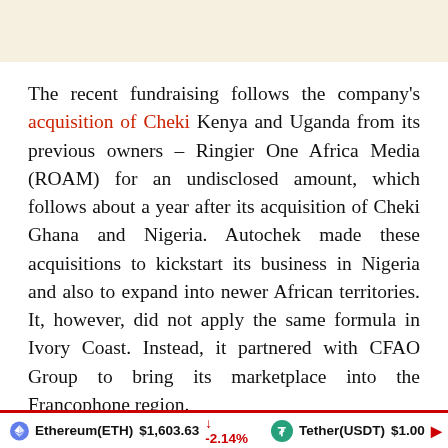The recent fundraising follows the company's acquisition of Cheki Kenya and Uganda from its previous owners – Ringier One Africa Media (ROAM) for an undisclosed amount, which follows about a year after its acquisition of Cheki Ghana and Nigeria. Autochek made these acquisitions to kickstart its business in Nigeria and also to expand into newer African territories. It, however, did not apply the same formula in Ivory Coast. Instead, it partnered with CFAO Group to bring its marketplace into the Francophone region.
Autochek is currently present in five African markets
Ethereum(ETH) $1,603.63 ↓ -2.14%   Tether(USDT) $1.00